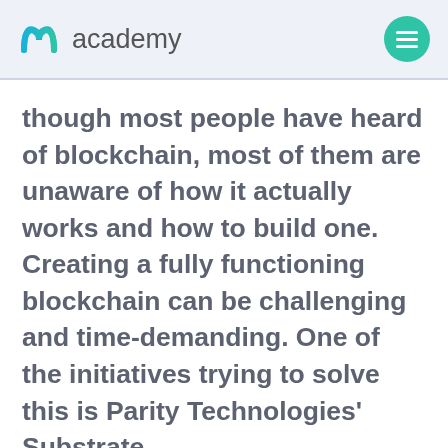academy
though most people have heard of blockchain, most of them are unaware of how it actually works and how to build one. Creating a fully functioning blockchain can be challenging and time-demanding. One of the initiatives trying to solve this is Parity Technologies' Substrate.